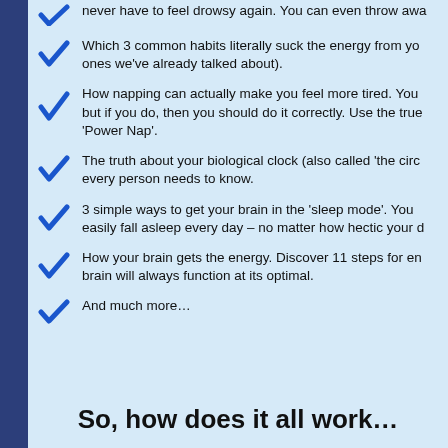never have to feel drowsy again. You can even throw awa
Which 3 common habits literally suck the energy from you ones we've already talked about).
How napping can actually make you feel more tired. You but if you do, then you should do it correctly. Use the true 'Power Nap'.
The truth about your biological clock (also called 'the circa every person needs to know.
3 simple ways to get your brain in the 'sleep mode'. You w easily fall asleep every day – no matter how hectic your d
How your brain gets the energy. Discover 11 steps for ens brain will always function at its optimal.
And much more…
So, how does it all work…